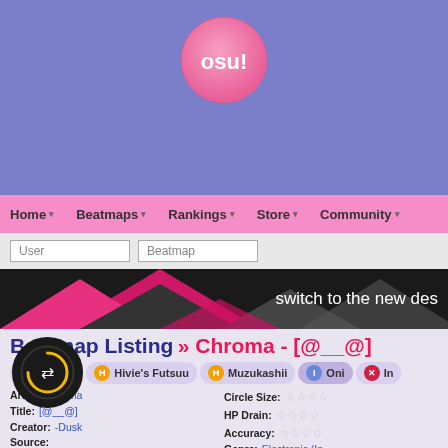[Figure (logo): osu! pink circular logo with white text 'osu!']
Home  Beatmaps  Rankings  Store  Community
User  Beatmap
[Figure (illustration): Dark banner with pink triangle shapes and text 'switch to the new des']
Beatmap Listing » Chroma - [@__@]
Kantan  Hivie's Futsuu  Muzukashii  Oni  In
| Field | Value | Field | Value |
| --- | --- | --- | --- |
| Artist: | Chroma | Circle Size: | ★★★★☆ |
| Title: | [@__@] | HP Drain: | ★★★★☆ |
| Creator: | -Dusk | Accuracy: | ★★★★☆ |
| Source: |  | Genre: | Electronic (In |
| Tags: | @_@ robot & and human featured artist mappers' guild electronic instrumental osu! hivie fa mpg 囃子 chro-0006 | User Rating: | 4 47 |
| Submitted: | Nov 18, 2021 | Rating Spread: |  |
| Ranked: | Dec 7, 2021 |  |  |